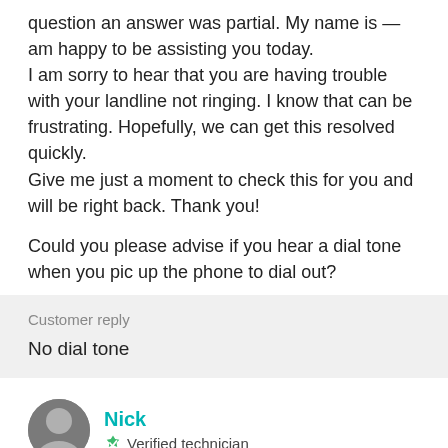question an answer was partial. My name is — am happy to be assisting you today.
I am sorry to hear that you are having trouble with your landline not ringing. I know that can be frustrating. Hopefully, we can get this resolved quickly.
Give me just a moment to check this for you and will be right back. Thank you!
Could you please advise if you hear a dial tone when you pic up the phone to dial out?
Customer reply
No dial tone
Nick
Verified technician
I'm sorry to hear that!